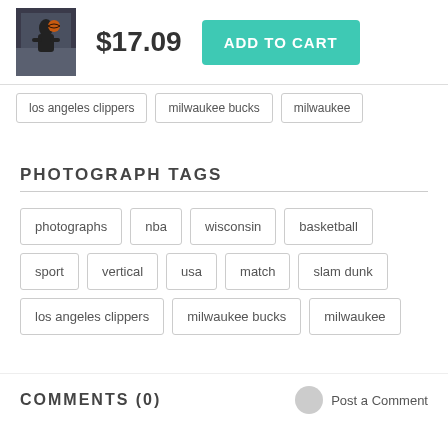[Figure (photo): Basketball player photo thumbnail]
$17.09
ADD TO CART
los angeles clippers
milwaukee bucks
milwaukee
PHOTOGRAPH TAGS
photographs
nba
wisconsin
basketball
sport
vertical
usa
match
slam dunk
los angeles clippers
milwaukee bucks
milwaukee
COMMENTS (0)
Post a Comment